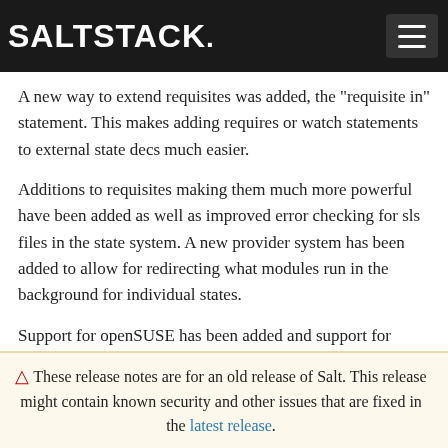SALTSTACK.
A new way to extend requisites was added, the "requisite in" statement. This makes adding requires or watch statements to external state decs much easier.
Additions to requisites making them much more powerful have been added as well as improved error checking for sls files in the state system. A new provider system has been added to allow for redirecting what modules run in the background for individual states.
Support for openSUSE has been added and support for Solaris has begun serious development. Windows support has been significantly enhanced as well.
⚠ These release notes are for an old release of Salt. This release might contain known security and other issues that are fixed in the latest release.